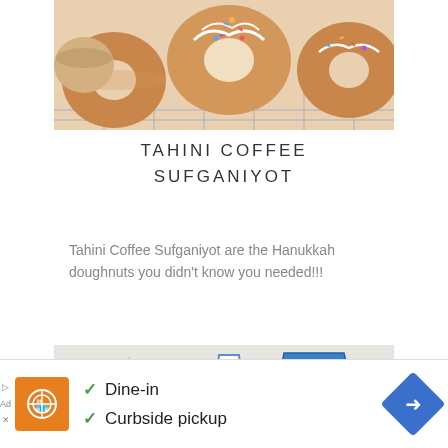[Figure (photo): Top portion of a baking tray showing frosted doughnuts (sufganiyot) with colorful sprinkles on a wire rack]
TAHINI COFFEE SUFGANIYOT
Tahini Coffee Sufganiyot are the Hanukkah doughnuts you didn't know you needed!!!
[Figure (photo): Hanukkah-themed decorated sugar cookies in blue, yellow, and white on a marble surface. Shapes include dreidels, Stars of David, and Texas outlines with text like 'UA LATKE' and 'OY!']
✓ Dine-in
✓ Curbside pickup